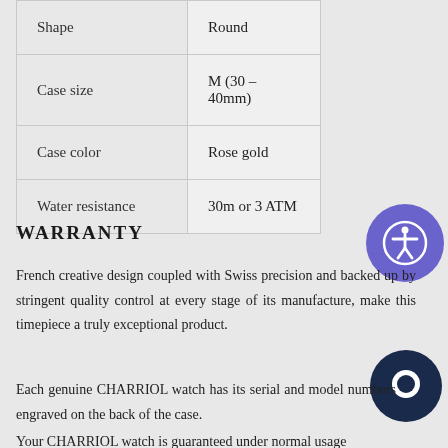| Property | Value |
| --- | --- |
| Shape | Round |
| Case size | M (30 – 40mm) |
| Case color | Rose gold |
| Water resistance | 30m or 3 ATM |
WARRANTY
French creative design coupled with Swiss precision and backed up by stringent quality control at every stage of its manufacture, make this timepiece a truly exceptional product.
Each genuine CHARRIOL watch has its serial and model numbers engraved on the back of the case.
Your CHARRIOL watch is guaranteed under normal usage